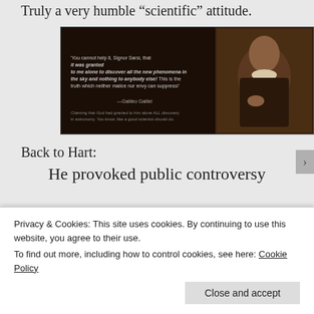Truly a very humble “scientific” attitude.
[Figure (illustration): Dark background image showing a Galileo Galilei quote and a portrait painting of Galileo. The quote reads: 'You cannot help it, Signor Sarsi, that it was granted to me alone to discover all the new phenomena in the sky and nothing to anybody else! This is the truth which neither malice nor envy can suppress!' —Galileo Galilei. Below: 'Claiming that God had granted to him alone ALL discovery in astronomy. You know, like a good scientist should do.']
Back to Hart:
He provoked public controversy
Privacy & Cookies: This site uses cookies. By continuing to use this website, you agree to their use.
To find out more, including how to control cookies, see here: Cookie Policy
Close and accept